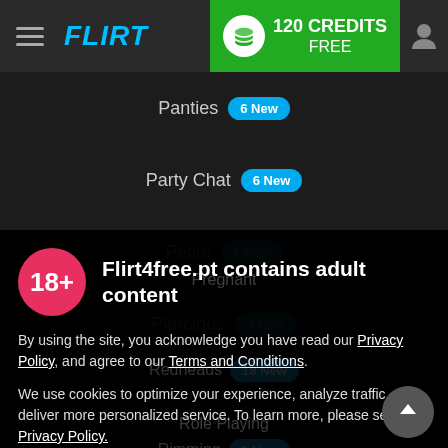[Figure (screenshot): Website navigation bar with hamburger menu, Flirt4Free logo, 120 Credits Free green badge, and user icon]
Panties 6 New
Party Chat 6 New
Petite 1 New
Piercings 3 New
Flirt4free.pt contains adult content
By using the site, you acknowledge you have read our Privacy Policy, and agree to our Terms and Conditions.
We use cookies to optimize your experience, analyze traffic, and deliver more personalized service. To learn more, please see our Privacy Policy.
I AGREE